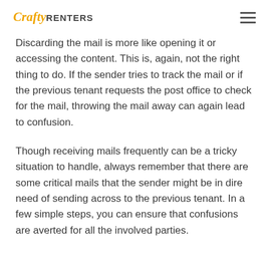CraftyRENTERS
Discarding the mail is more like opening it or accessing the content. This is, again, not the right thing to do. If the sender tries to track the mail or if the previous tenant requests the post office to check for the mail, throwing the mail away can again lead to confusion.
Though receiving mails frequently can be a tricky situation to handle, always remember that there are some critical mails that the sender might be in dire need of sending across to the previous tenant. In a few simple steps, you can ensure that confusions are averted for all the involved parties.